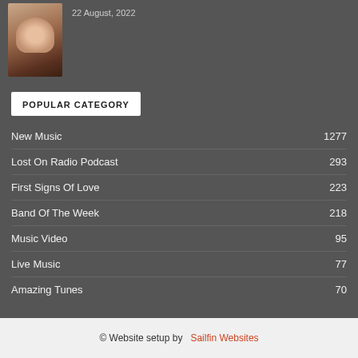[Figure (photo): Portrait photo of a woman with curly dark hair and sunglasses]
22 August, 2022
POPULAR CATEGORY
New Music    1277
Lost On Radio Podcast    293
First Signs Of Love    223
Band Of The Week    218
Music Video    95
Live Music    77
Amazing Tunes    70
© Website setup by    Sailfin Websites